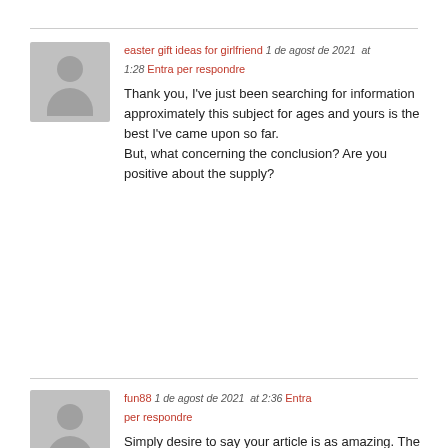easter gift ideas for girlfriend  1 de agost de 2021  at 1:28  Entra per respondre
Thank you, I've just been searching for information approximately this subject for ages and yours is the best I've came upon so far.
But, what concerning the conclusion? Are you positive about the supply?
fun88  1 de agost de 2021  at 2:36  Entra per respondre
Simply desire to say your article is as amazing. The clarity to your post is just cool